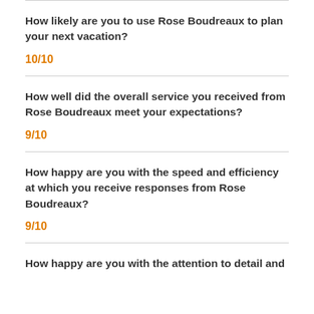How likely are you to use Rose Boudreaux to plan your next vacation?
10/10
How well did the overall service you received from Rose Boudreaux meet your expectations?
9/10
How happy are you with the speed and efficiency at which you receive responses from Rose Boudreaux?
9/10
How happy are you with the attention to detail and